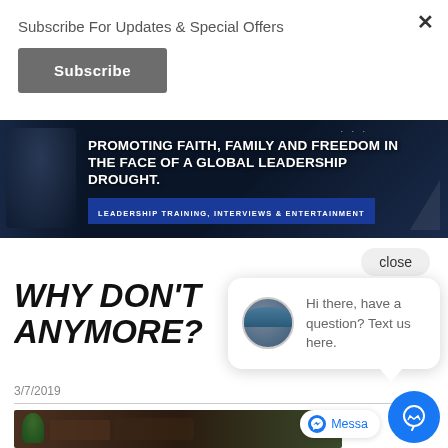Subscribe For Updates & Special Offers
Subscribe
[Figure (photo): Dark banner with man in suit, text: PROMOTING FAITH, FAMILY AND FREEDOM IN THE FACE OF A GLOBAL LEADERSHIP DROUGHT. LEADERSHIP TRAINING, INTERVIEWS & ENTERTAINMENT]
close
WHY DON'T… ANYMORE?
[Figure (screenshot): Chat bubble with avatar: Hi there, have a question? Text us here.]
3/7/2019
[Figure (photo): Bottom partial image strip showing decorative items and plant]
Messa
[Figure (other): Blue circular chat/support button]